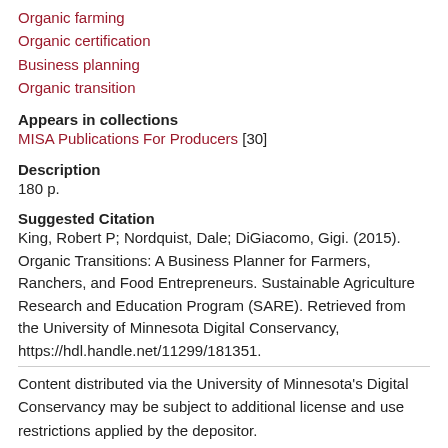Organic farming
Organic certification
Business planning
Organic transition
Appears in collections
MISA Publications For Producers [30]
Description
180 p.
Suggested Citation
King, Robert P; Nordquist, Dale; DiGiacomo, Gigi. (2015). Organic Transitions: A Business Planner for Farmers, Ranchers, and Food Entrepreneurs. Sustainable Agriculture Research and Education Program (SARE). Retrieved from the University of Minnesota Digital Conservancy, https://hdl.handle.net/11299/181351.
Content distributed via the University of Minnesota's Digital Conservancy may be subject to additional license and use restrictions applied by the depositor.